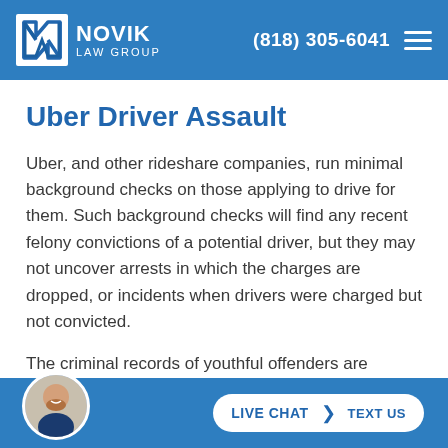NOVIK LAW GROUP | (818) 305-6041
Uber Driver Assault
Uber, and other rideshare companies, run minimal background checks on those applying to drive for them. Such background checks will find any recent felony convictions of a potential driver, but they may not uncover arrests in which the charges are dropped, or incidents when drivers were charged but not convicted.
The criminal records of youthful offenders are sealed when th...
LIVE CHAT | TEXT US